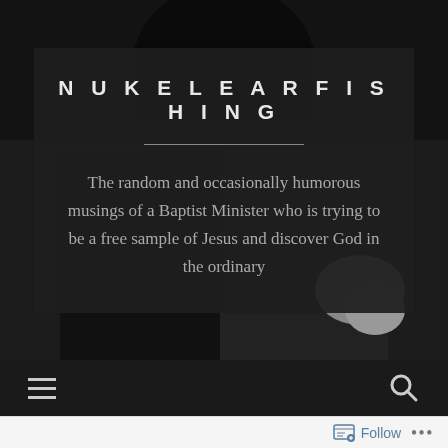[Figure (photo): Black and white background photo of a person, mostly showing dark hair and partial face/body, grayscale tones]
NUKELEARFISHING
The random and occasionally humorous musings of a Baptist Minister who is trying to be a free sample of Jesus and discover God in the ordinary
[Figure (other): Dark navigation bar with hamburger menu icon on the left and search magnifying glass icon on the right]
Follow ...